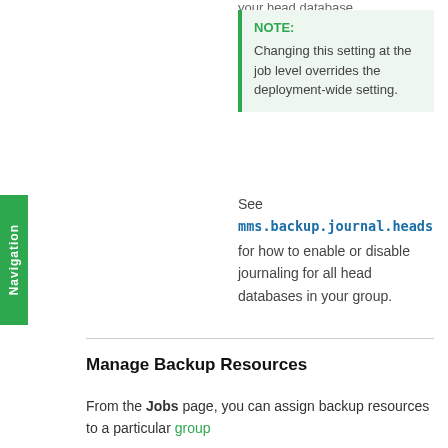your head database.
NOTE:
Changing this setting at the job level overrides the deployment-wide setting.
See
mms.backup.journal.heads
for how to enable or disable journaling for all head databases in your group.
Manage Backup Resources
From the Jobs page, you can assign backup resources to a particular group